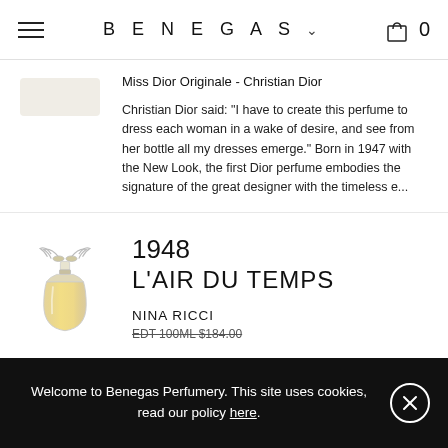BENEGAS
Miss Dior Originale - Christian Dior
Christian Dior said: "I have to create this perfume to dress each woman in a wake of desire, and see from her bottle all my dresses emerge." Born in 1947 with the New Look, the first Dior perfume embodies the signature of the great designer with the timeless e...
1948
L'AIR DU TEMPS
NINA RICCI
EDT 100ML $184.00
Welcome to Benegas Perfumery. This site uses cookies, read our policy here.